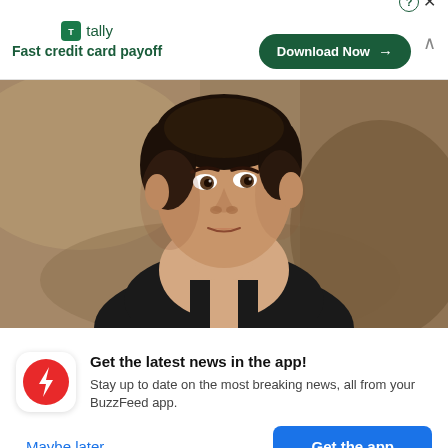[Figure (screenshot): Tally app advertisement banner: green logo with text 'tally Fast credit card payoff', a green 'Download Now' button with arrow, close controls (question mark circle and X), and chevron up icon]
[Figure (photo): Close-up photo of a young man with dark hair wearing a black tank top, looking slightly off-camera against a blurred tan/brown background]
[Figure (screenshot): BuzzFeed app notification card with red BuzzFeed logo (white lightning bolt arrow on red circle), bold heading 'Get the latest news in the app!', subtext 'Stay up to date on the most breaking news, all from your BuzzFeed app.', a 'Maybe later' blue text link and a blue 'Get the app' button]